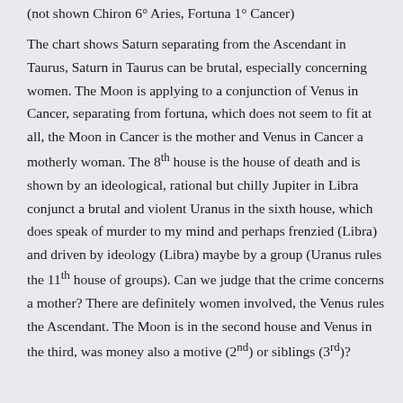(not shown Chiron 6° Aries, Fortuna 1° Cancer)
The chart shows Saturn separating from the Ascendant in Taurus, Saturn in Taurus can be brutal, especially concerning women. The Moon is applying to a conjunction of Venus in Cancer, separating from fortuna, which does not seem to fit at all, the Moon in Cancer is the mother and Venus in Cancer a motherly woman. The 8th house is the house of death and is shown by an ideological, rational but chilly Jupiter in Libra conjunct a brutal and violent Uranus in the sixth house, which does speak of murder to my mind and perhaps frenzied (Libra) and driven by ideology (Libra) maybe by a group (Uranus rules the 11th house of groups). Can we judge that the crime concerns a mother? There are definitely women involved, the Venus rules the Ascendant. The Moon is in the second house and Venus in the third, was money also a motive (2nd) or siblings (3rd)?